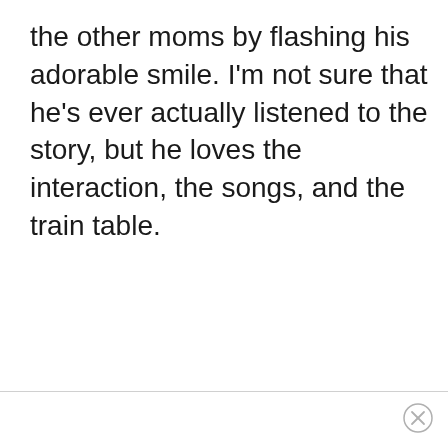the other moms by flashing his adorable smile. I'm not sure that he's ever actually listened to the story, but he loves the interaction, the songs, and the train table.
[Figure (other): Close/dismiss button (circle with X) in bottom-right corner of page]